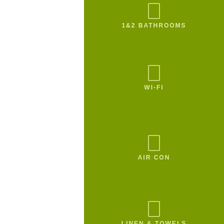[Figure (infographic): Green panel with amenity icons and labels: 1&2 Bathrooms, Wi-Fi, Air Con, Linen & Towels]
1&2 BATHROOMS
WI-FI
AIR CON
LINEN & TOWELS